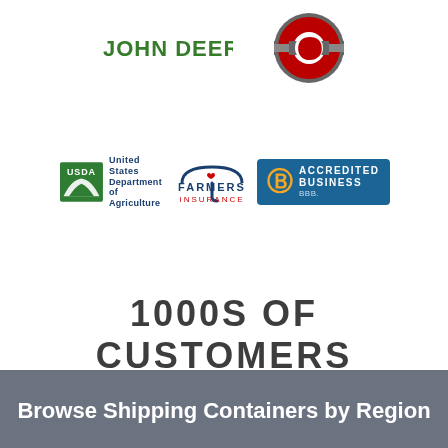[Figure (logo): John Deere green text logo]
[Figure (logo): Ohio State Buckeyes athletic logo — circular red and grey emblem]
[Figure (logo): USDA United States Department of Agriculture logo]
[Figure (logo): Farmers Insurance logo]
[Figure (logo): BBB Accredited Business badge]
1000S OF CUSTOMERS
Browse Shipping Containers by Region